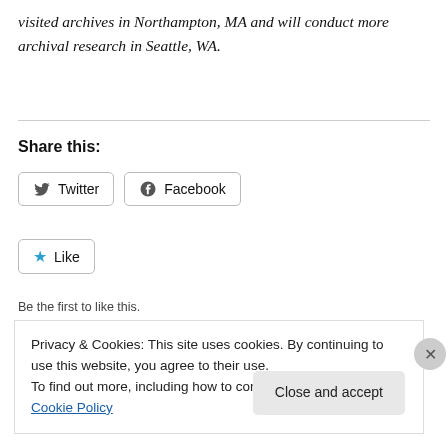visited archives in Northampton, MA and will conduct more archival research in Seattle, WA.
Share this:
[Figure (other): Twitter and Facebook share buttons, followed by a Like button with a blue star icon]
Be the first to like this.
Related
Privacy & Cookies: This site uses cookies. By continuing to use this website, you agree to their use.
To find out more, including how to control cookies, see here: Cookie Policy